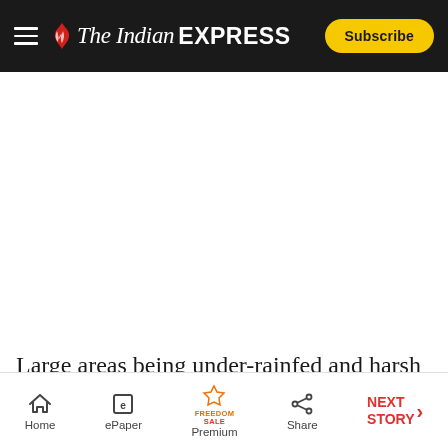The Indian EXPRESS — Subscribe
[Figure (photo): Large blank white image area (article image placeholder)]
Large areas being under-rainfed and harsh environment also accounted for non-realisation of
Home | ePaper | Premium | Share | NEXT STORY